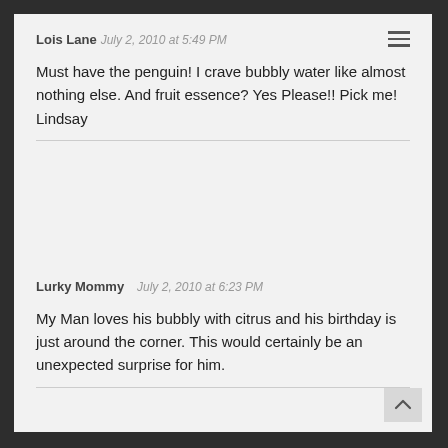Lois Lane July 2, 2010 at 5:49 PM
Must have the penguin! I crave bubbly water like almost nothing else. And fruit essence? Yes Please!! Pick me! Lindsay
Lurky Mommy July 2, 2010 at 6:23 PM
My Man loves his bubbly with citrus and his birthday is just around the corner. This would certainly be an unexpected surprise for him.